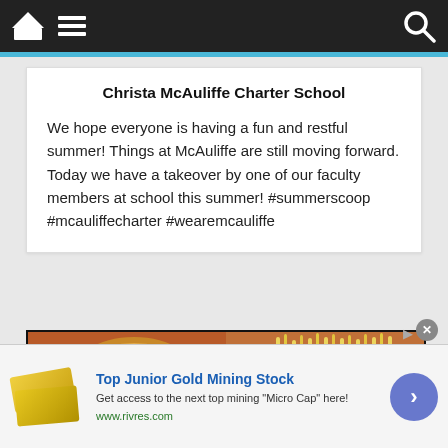Navigation bar with home, menu, and search icons
Christa McAuliffe Charter School
We hope everyone is having a fun and restful summer! Things at McAuliffe are still moving forward. Today we have a takeover by one of our faculty members at school this summer! #summerscoop #mcauliffecharter #wearemcauliffe
[Figure (photo): Photo showing food items: pizza on left side and taco with shredded cheese on right side]
Top Junior Gold Mining Stock
Get access to the next top mining "Micro Cap" here!
www.rivres.com